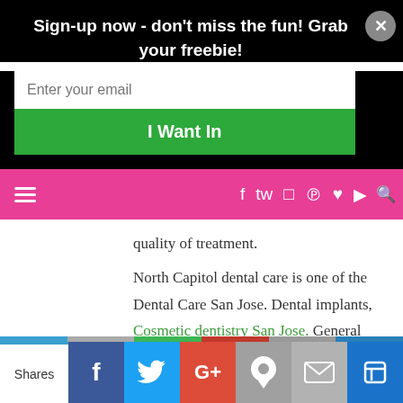Sign-up now - don't miss the fun! Grab your freebie!
quality of treatment.
North Capitol dental care is one of the Dental Care San Jose. Dental implants, Cosmetic dentistry San Jose. General Dentistry, root canal treatment, teeth extraction services are offered at affordable cost. our
Shares